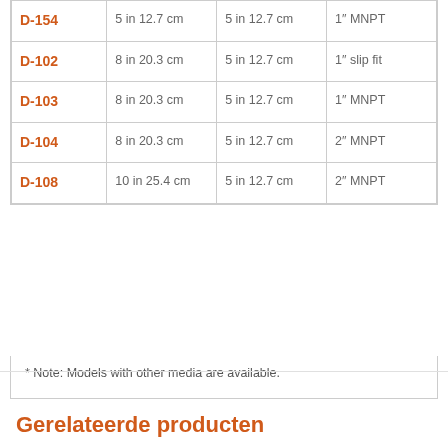| D-154 | 5 in 12.7 cm | 5 in 12.7 cm | 1″ MNPT |
| D-102 | 8 in 20.3 cm | 5 in 12.7 cm | 1″ slip fit |
| D-103 | 8 in 20.3 cm | 5 in 12.7 cm | 1″ MNPT |
| D-104 | 8 in 20.3 cm | 5 in 12.7 cm | 2″ MNPT |
| D-108 | 10 in 25.4 cm | 5 in 12.7 cm | 2″ MNPT |
* Note: Models with other media are available.
Gerelateerde producten